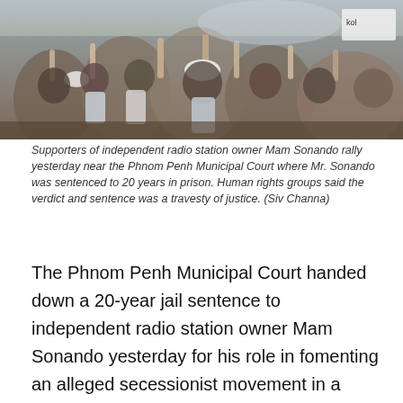[Figure (photo): Crowd of supporters with raised hands rallying near the Phnom Penh Municipal Court]
Supporters of independent radio station owner Mam Sonando rally yesterday near the Phnom Penh Municipal Court where Mr. Sonando was sentenced to 20 years in prison. Human rights groups said the verdict and sentence was a travesty of justice. (Siv Channa)
The Phnom Penh Municipal Court handed down a 20-year jail sentence to independent radio station owner Mam Sonando yesterday for his role in fomenting an alleged secessionist movement in a decision drawing condemnation from human rights groups and some of Cambodia's main foreign donors.